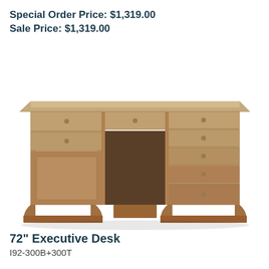Special Order Price: $1,319.00
Sale Price: $1,319.00
[Figure (photo): A traditional-style 72-inch executive desk with a warm gray-brown wood finish. The desk features multiple drawers on both pedestals, decorative molding, a center drawer, and carved bracket feet.]
72" Executive Desk
I92-300B+300T